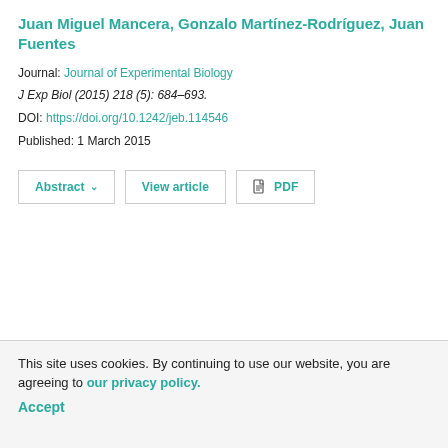Juan Miguel Mancera, Gonzalo Martínez-Rodríguez, Juan Fuentes
Journal: Journal of Experimental Biology
J Exp Biol (2015) 218 (5): 684–693.
DOI: https://doi.org/10.1242/jeb.114546
Published: 1 March 2015
Abstract  View article  PDF
This site uses cookies. By continuing to use our website, you are agreeing to our privacy policy. Accept